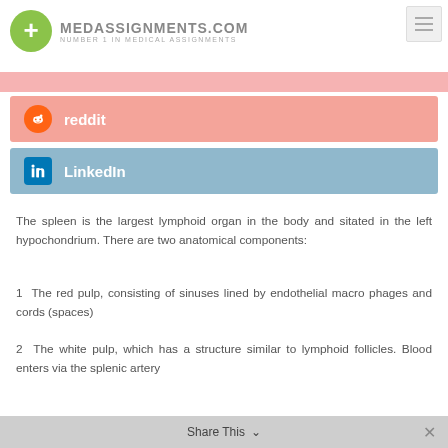[Figure (logo): Medassignments.com logo with green circle plus sign and text 'MEDASSIGNMENTS.COM NUMBER 1 IN MEDICAL ASSIGNMENTS']
[Figure (infographic): Reddit social share button - salmon/pink background with Reddit alien icon and text 'reddit']
[Figure (infographic): LinkedIn social share button - blue background with LinkedIn icon and text 'LinkedIn']
The spleen is the largest lymphoid organ in the body and sitated in the left hypochondrium. There are two anatomical components:
1  The red pulp, consisting of sinuses lined by endothelial macro phages and cords (spaces)
2  The white pulp, which has a structure similar to lymphoid follicles. Blood enters via the splenic artery
[Figure (infographic): Share This bar at the bottom of the page]